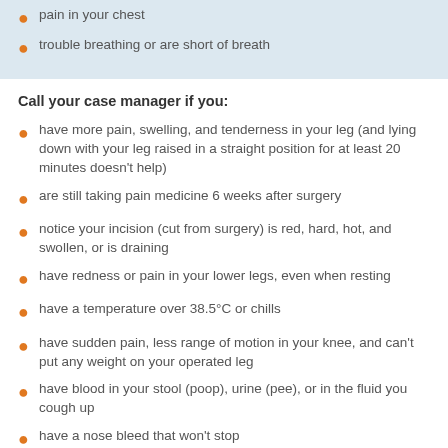pain in your chest
trouble breathing or are short of breath
Call your case manager if you:
have more pain, swelling, and tenderness in your leg (and lying down with your leg raised in a straight position for at least 20 minutes doesn't help)
are still taking pain medicine 6 weeks after surgery
notice your incision (cut from surgery) is red, hard, hot, and swollen, or is draining
have redness or pain in your lower legs, even when resting
have a temperature over 38.5°C or chills
have sudden pain, less range of motion in your knee, and can't put any weight on your operated leg
have blood in your stool (poop), urine (pee), or in the fluid you cough up
have a nose bleed that won't stop
have a lot of bruising that doesn't seem to be going away (It's normal to have bruising above